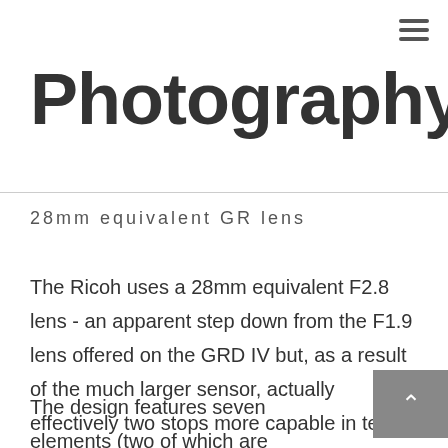≡
Photography
28mm equivalent GR lens
The Ricoh uses a 28mm equivalent F2.8 lens - an apparent step down from the F1.9 lens offered on the GRD IV but, as a result of the much larger sensor, actually effectively two stops more capable in terms of depth-of-field control and light-gathering capability.
The design features seven elements (two of which are aspheric) in five groups and there's a 9-blade diaphragm